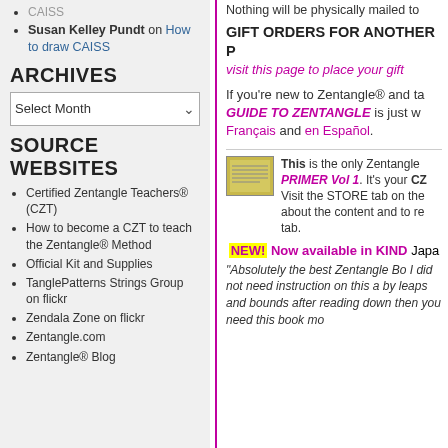CAISS
Susan Kelley Pundt on How to draw CAISS
ARCHIVES
Select Month (dropdown)
SOURCE WEBSITES
Certified Zentangle Teachers® (CZT)
How to become a CZT to teach the Zentangle® Method
Official Kit and Supplies
TanglePatterns Strings Group on flickr
Zendala Zone on flickr
Zentangle.com
Zentangle® Blog
Nothing will be physically mailed to...
GIFT ORDERS FOR ANOTHER P... visit this page to place your gift
If you're new to Zentangle® and ta... GUIDE TO ZENTANGLE is just w... Français and en Español.
This is the only Zentangle... PRIMER Vol 1. It's your CZ... Visit the STORE tab on the... about the content and to re... tab.
NEW! Now available in KIND... Japa
"Absolutely the best Zentangle Bo... I did not need instruction on this a... by leaps and bounds after reading... down then you need this book mo...